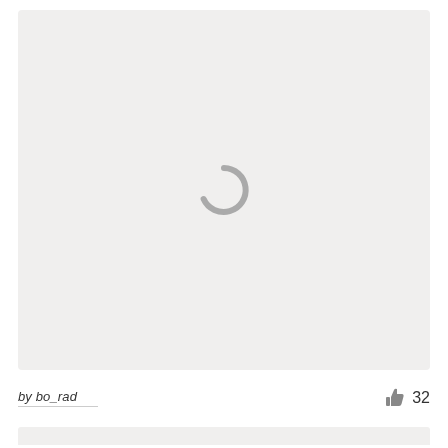[Figure (other): Large light gray content card area with a loading spinner icon (arc/ring shape) centered in the middle of the card]
by bo_rad
32